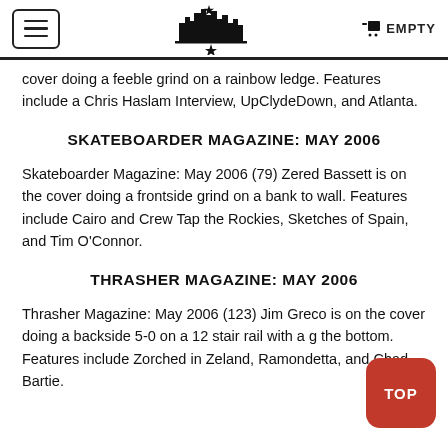EMPTY
cover doing a feeble grind on a rainbow ledge. Features include a Chris Haslam Interview, UpClydeDown, and Atlanta.
SKATEBOARDER MAGAZINE: MAY 2006
Skateboarder Magazine: May 2006 (79) Zered Bassett is on the cover doing a frontside grind on a bank to wall. Features include Cairo and Crew Tap the Rockies, Sketches of Spain, and Tim O’Connor.
THRASHER MAGAZINE: MAY 2006
Thrasher Magazine: May 2006 (123) Jim Greco is on the cover doing a backside 5-0 on a 12 stair rail with a g... the bottom. Features include Zorched in Zeland, Ramondetta, and Chad Bartie.